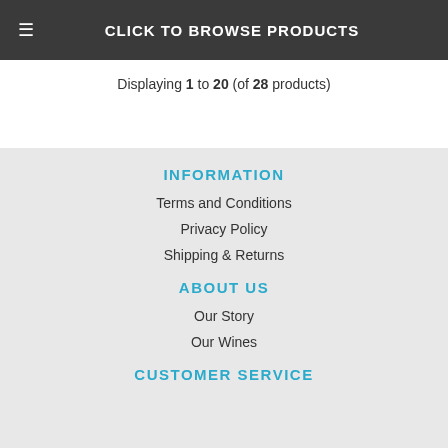≡ CLICK TO BROWSE PRODUCTS
Displaying 1 to 20 (of 28 products)
INFORMATION
Terms and Conditions
Privacy Policy
Shipping & Returns
ABOUT US
Our Story
Our Wines
CUSTOMER SERVICE